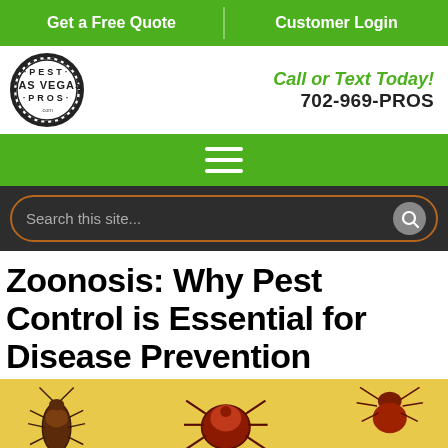Get a Free Quote | Customer Login
[Figure (logo): Pest Las Vegas Pros circular logo in black and white with thick border]
Call or Text Today! 702-969-PROS
Hamburger menu navigation bar
Search this site...
Zoonosis: Why Pest Control is Essential for Disease Prevention
[Figure (illustration): Yellow background with illustrated insects and pests including a cockroach, tick, spider, and other bugs in red/brown tones]